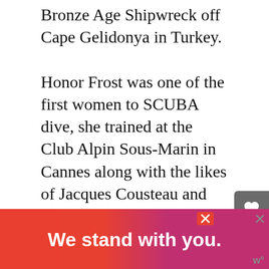Bronze Age Shipwreck off Cape Gelidonya in Turkey. Honor Frost was one of the first women to SCUBA dive, she trained at the Club Alpin Sous-Marin in Cannes along with the likes of Jacques Cousteau and Frederic Dumas. She pioneered new techniques in underwater archaeology and stressed that it was possible to undertake excavation underwater to the same standards as on land. However, very little is still known about her beyond the world of maritime archaeology, yet despite facing many hurdles she was relentless in her
[Figure (other): Advertisement banner reading 'We stand with you.' in bold white text on an orange-to-pink gradient background]